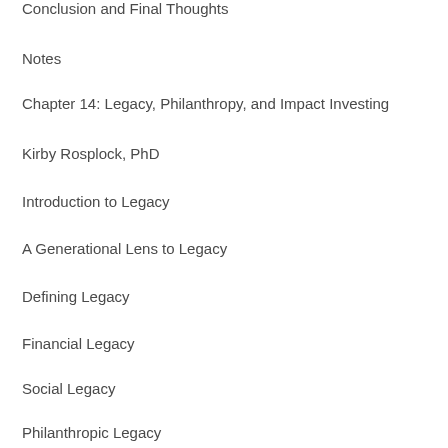Conclusion and Final Thoughts
Notes
Chapter 14: Legacy, Philanthropy, and Impact Investing
Kirby Rosplock, PhD
Introduction to Legacy
A Generational Lens to Legacy
Defining Legacy
Financial Legacy
Social Legacy
Philanthropic Legacy
Philanthropy, Impact, and Sustainable Investing